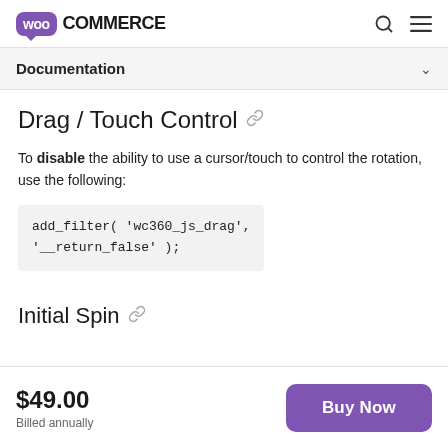WooCommerce
Documentation
Drag / Touch Control
To disable the ability to use a cursor/touch to control the rotation, use the following:
Initial Spin
$49.00
Billed annually